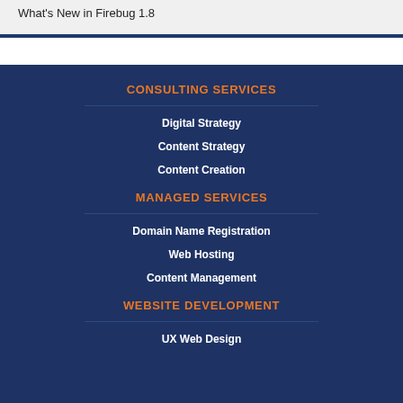What's New in Firebug 1.8
CONSULTING SERVICES
Digital Strategy
Content Strategy
Content Creation
MANAGED SERVICES
Domain Name Registration
Web Hosting
Content Management
WEBSITE DEVELOPMENT
UX Web Design